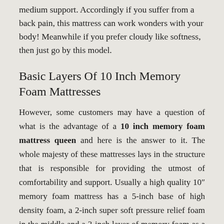medium support. Accordingly if you suffer from a back pain, this mattress can work wonders with your body! Meanwhile if you prefer cloudy like softness, then just go by this model.
Basic Layers Of 10 Inch Memory Foam Mattresses
However, some customers may have a question of what is the advantage of a 10 inch memory foam mattress queen and here is the answer to it. The whole majesty of these mattresses lays in the structure that is responsible for providing the utmost of comfortability and support. Usually a high quality 10″ memory foam mattress has a 5-inch base of high density foam, a 2-inch super soft pressure relief foam in the middle and a 3-inch layer of memory foam as a top layer. However, all these three layers are covered